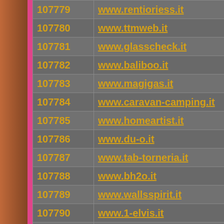| ID | URL |
| --- | --- |
| 107779 | www.rentioriess.it |
| 107780 | www.ttmweb.it |
| 107781 | www.glasscheck.it |
| 107782 | www.baliboo.it |
| 107783 | www.magigas.it |
| 107784 | www.caravan-camping.it |
| 107785 | www.homeartist.it |
| 107786 | www.du-o.it |
| 107787 | www.tab-torneria.it |
| 107788 | www.bh2o.it |
| 107789 | www.wallsspirit.it |
| 107790 | www.1-elvis.it |
| 107791 | www.villabohemepositano.it |
| 107792 | www.rhochem.it |
| 107793 | www.lolaskitchen.it |
| 107794 | www.albergodolcedo.it |